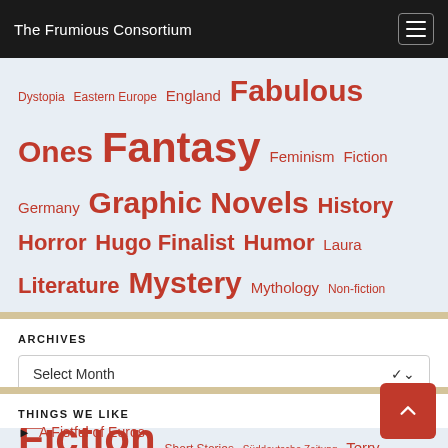The Frumious Consortium
Dystopia Eastern Europe England Fabulous Ones Fantasy Feminism Fiction Germany Graphic Novels History Horror Hugo Finalist Humor Laura Literature Mystery Mythology Non-fiction Novella Philosophy Poland Politics Religion Romance Russia Science Science Fiction Short Stories Süddeutsche Zeitung Terry Pratchett Thriller Urban Fantasy War World War II Young Adult
ARCHIVES
Select Month
THINGS WE LIKE
A Fistful of Euros